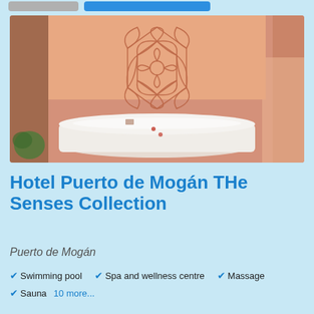[Figure (photo): Interior photo of a hotel spa room with a massage table covered in white sheets, warm peachy-pink walls, and a decorative mandala/geometric pattern on the upper wall.]
Hotel Puerto de Mogán THe Senses Collection
Puerto de Mogán
Swimming pool
Spa and wellness centre
Massage
Sauna
10 more...